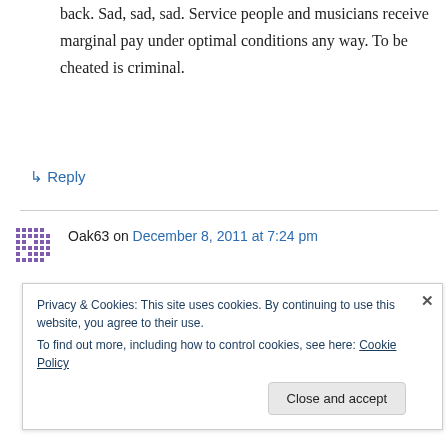back. Sad, sad, sad. Service people and musicians receive marginal pay under optimal conditions any way. To be cheated is criminal.
↳ Reply
Oak63 on December 8, 2011 at 7:24 pm
As a small, locally owned Bistro who, at times, has struggled to keep up with our (just under) ten employees payroll and tip-outs we find these
Privacy & Cookies: This site uses cookies. By continuing to use this website, you agree to their use.
To find out more, including how to control cookies, see here: Cookie Policy
Close and accept